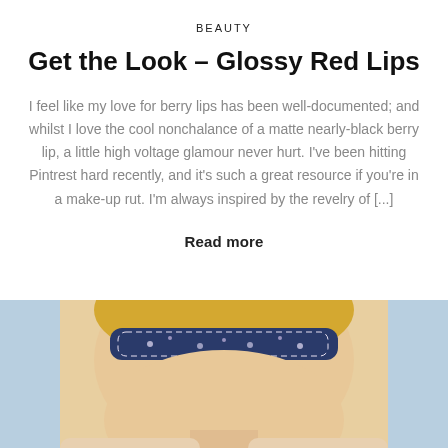BEAUTY
Get the Look – Glossy Red Lips
I feel like my love for berry lips has been well-documented; and whilst I love the cool nonchalance of a matte nearly-black berry lip, a little high voltage glamour never hurt. I've been hitting Pintrest hard recently, and it's such a great resource if you're in a make-up rut. I'm always inspired by the revelry of [...]
Read more
[Figure (photo): Close-up portrait of a blonde woman wearing a navy blue patterned headband, photographed outdoors with a light blue sky background.]